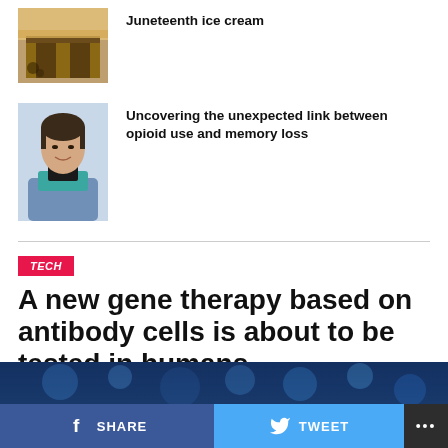[Figure (photo): Exterior of an ice cream shop, square thumbnail]
Juneteenth ice cream
[Figure (photo): Portrait photo of a woman smiling, wearing a blue top and teal scarf]
Uncovering the unexpected link between opioid use and memory loss
TECH
A new gene therapy based on antibody cells is about to be tested in humans
Published 3 hours ago on 09/01/2022
By Drew Simpson
[Figure (photo): Microscopic image, blue tones, partial view at bottom of page]
SHARE
TWEET